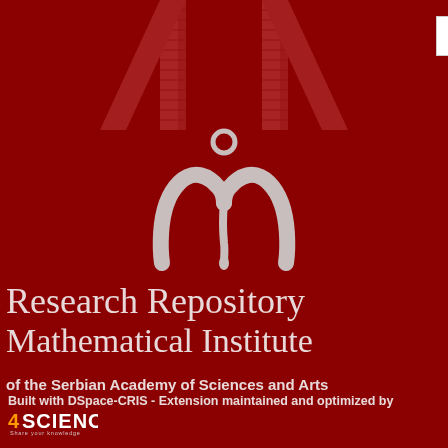[Figure (logo): Two decorative arch/column motifs at top of page on dark red background]
Log in
[Figure (logo): Mathematical Institute SASA logo: stylized letter M with circle above, in light grey on dark red background]
Research Repository Mathematical Institute
of the Serbian Academy of Sciences and Arts
Built with DSpace-CRIS - Extension maintained and optimized by
[Figure (logo): 4SCIENCE logo with orange 4 and white SCIENCE text, tagline Share your knowledge]